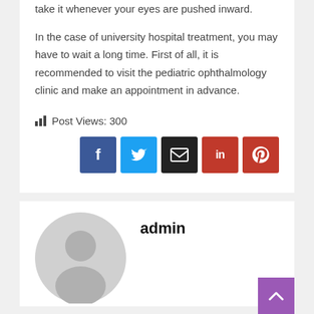take it whenever your eyes are pushed inward.
In the case of university hospital treatment, you may have to wait a long time. First of all, it is recommended to visit the pediatric ophthalmology clinic and make an appointment in advance.
Post Views: 300
[Figure (screenshot): Social sharing buttons: Facebook (blue), Twitter (light blue), Email (black), LinkedIn (red), Pinterest (red)]
[Figure (illustration): Generic grey user avatar placeholder image (circle head and shoulders silhouette)]
admin